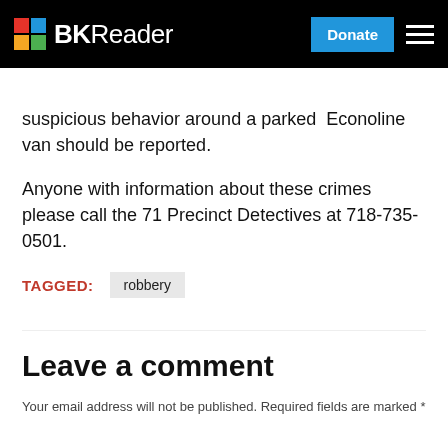BKReader — Donate
suspicious behavior around a parked  Econoline van should be reported.
Anyone with information about these crimes please call the 71 Precinct Detectives at 718-735-0501.
TAGGED: robbery
Leave a comment
Your email address will not be published. Required fields are marked *